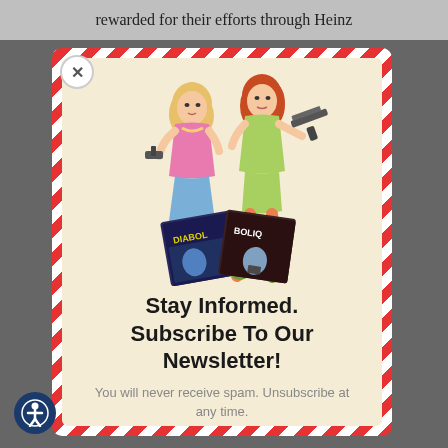rewarded for their efforts through Heinz
[Figure (illustration): Two illustrated women holding weapons (one with a pistol, one with a submachine gun), standing over comic book covers labeled 'Diabol' and 'Bolique']
Stay Informed. Subscribe To Our Newsletter!
You will never receive spam. Unsubscribe at any time.